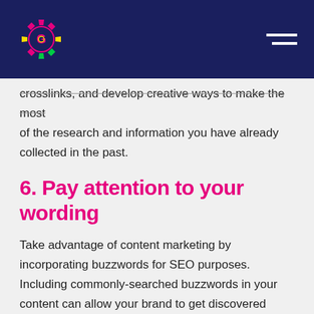G logo and hamburger menu
crosslinks, and develop creative ways to make the most of the research and information you have already collected in the past.
6. Pay attention to your wording
Take advantage of content marketing by incorporating buzzwords for SEO purposes. Including commonly-searched buzzwords in your content can allow your brand to get discovered through search engines and other backlinks.
Content marketing could be a fantastic opportunity for your brand. To learn how it can help your business and